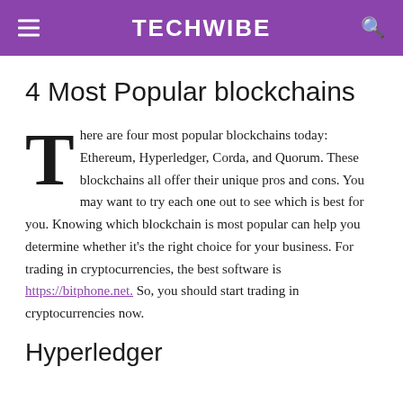TECHWIBE
4 Most Popular blockchains
There are four most popular blockchains today: Ethereum, Hyperledger, Corda, and Quorum. These blockchains all offer their unique pros and cons. You may want to try each one out to see which is best for you. Knowing which blockchain is most popular can help you determine whether it's the right choice for your business. For trading in cryptocurrencies, the best software is https://bitphone.net. So, you should start trading in cryptocurrencies now.
Hyperledger